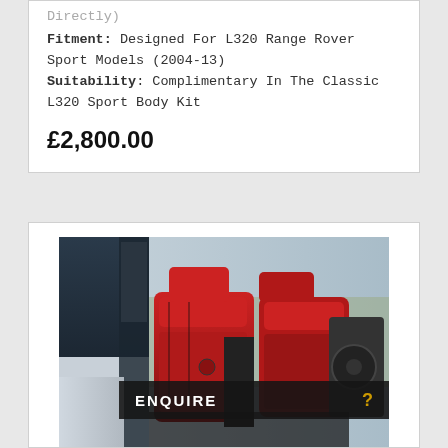Directly)
Fitment: Designed For L320 Range Rover Sport Models (2004-13)
Suitability: Complimentary In The Classic L320 Sport Body Kit
£2,800.00
[Figure (photo): Car interior photo showing red leather seats in what appears to be a Range Rover Sport, with a dark ENQUIRE button overlay at the bottom]